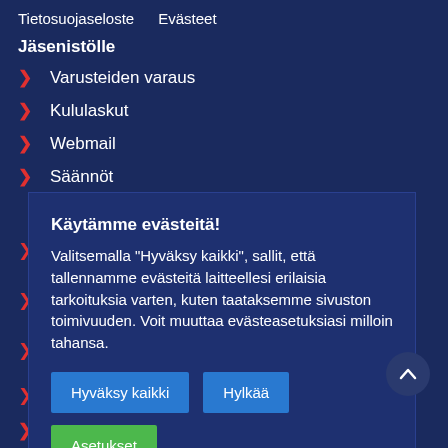Tietosuojaseloste   Evästeet
Jäsenistölle
Varusteiden varaus
Kululaskut
Webmail
Säännöt
Käytämme evästeitä! Valitsemalla "Hyväksy kaikki", sallit, että tallennamme evästeitä laitteellesi erilaisia tarkoituksia varten, kuten taataksemme sivuston toimivuuden. Voit muuttaa evästeasetuksiasi milloin tahansa.
Liity kannatusjäseneksi